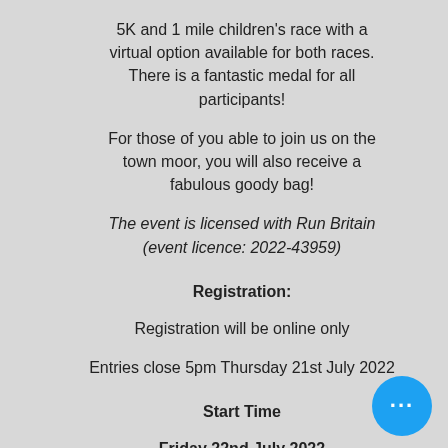5K and 1 mile children's race with a virtual option available for both races. There is a fantastic medal for all participants!
For those of you able to join us on the town moor, you will also receive a fabulous goody bag!
The event is licensed with Run Britain (event licence: 2022-43959)
Registration:
Registration will be online only
Entries close 5pm Thursday 21st July 2022
Start Time
Friday 22nd July 2022
Children's Race start: 5:45